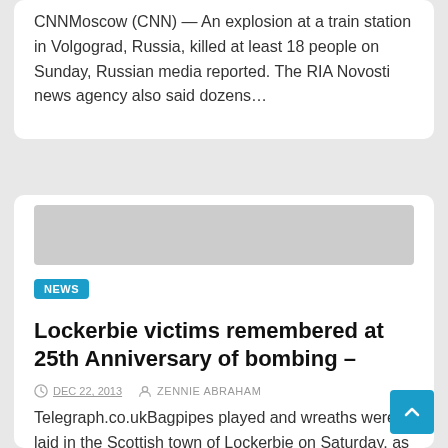CNNMoscow (CNN) — An explosion at a train station in Volgograd, Russia, killed at least 18 people on Sunday, Russian media reported. The RIA Novosti news agency also said dozens…
NEWS
Lockerbie victims remembered at 25th Anniversary of bombing –
DEC 22, 2013   ZENNIE ABRAHAM
Telegraph.co.ukBagpipes played and wreaths were laid in the Scottish town of Lockerbie on Saturday, as